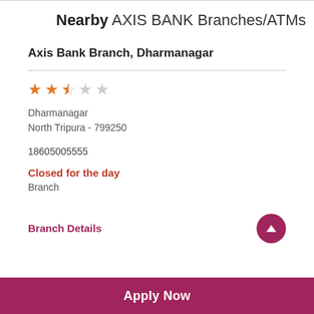Nearby AXIS BANK Branches/ATMs
Axis Bank Branch, Dharmanagar
★ ★ ★½ ★ ★ (2.5 stars)
Dharmanagar
North Tripura - 799250
18605005555
Closed for the day
Branch
Branch Details
Apply Now